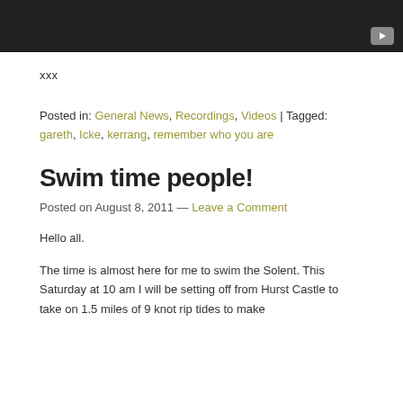[Figure (screenshot): Dark video player thumbnail with a grey play button in the bottom-right corner]
xxx
Posted in: General News, Recordings, Videos | Tagged: gareth, Icke, kerrang, remember who you are
Swim time people!
Posted on August 8, 2011  —  Leave a Comment
Hello all.
The time is almost here for me to swim the Solent. This Saturday at 10 am I will be setting off from Hurst Castle to take on 1.5 miles of 9 knot rip tides to make